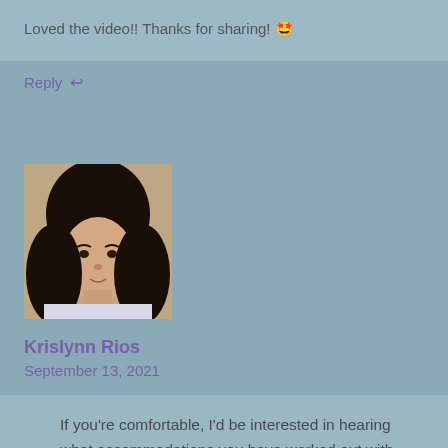Loved the video!! Thanks for sharing! 🤩
Reply ↩
[Figure (photo): User profile photo of Krislynn Rios — a young woman with long dark hair, facing the camera.]
Krislynn Rios
September 13, 2021
If you're comfortable, I'd be interested in hearing what accommodations you have worked out with your school's disability services. It's hard to balance